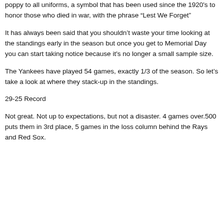poppy to all uniforms, a symbol that has been used since the 1920's to honor those who died in war, with the phrase “Lest We Forget”
It has always been said that you shouldn’t waste your time looking at the standings early in the season but once you get to Memorial Day you can start taking notice because it’s no longer a small sample size.
The Yankees have played 54 games, exactly 1/3 of the season. So let’s take a look at where they stack-up in the standings.
29-25 Record
Not great. Not up to expectations, but not a disaster. 4 games over.500 puts them in 3rd place, 5 games in the loss column behind the Rays and Red Sox.